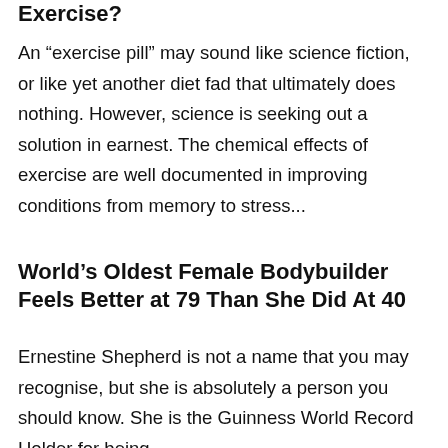Exercise?
An “exercise pill” may sound like science fiction, or like yet another diet fad that ultimately does nothing. However, science is seeking out a solution in earnest. The chemical effects of exercise are well documented in improving conditions from memory to stress...
World’s Oldest Female Bodybuilder Feels Better at 79 Than She Did At 40
Ernestine Shepherd is not a name that you may recognise, but she is absolutely a person you should know. She is the Guinness World Record Holder for being